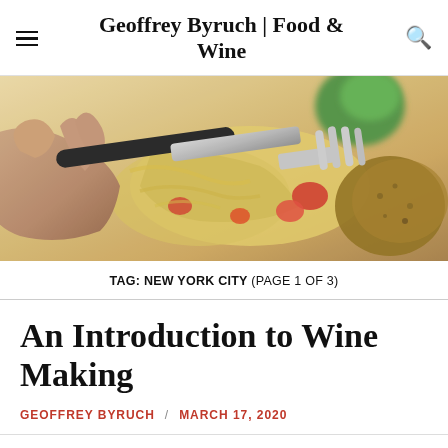Geoffrey Byruch | Food & Wine
[Figure (photo): Close-up photo of a hand holding a fork over a plate of food with pasta, tomatoes, broccoli, and a breaded item]
TAG: NEW YORK CITY (PAGE 1 OF 3)
An Introduction to Wine Making
GEOFFREY BYRUCH / MARCH 17, 2020